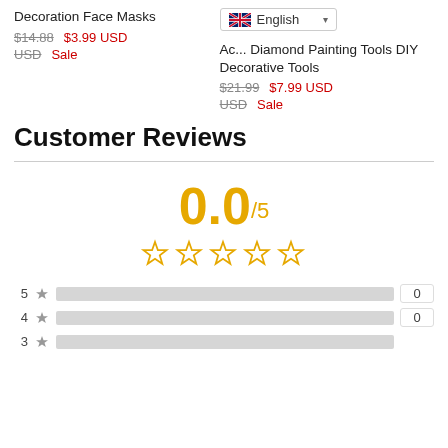Decoration Face Masks
$14.88 USD  $3.99 USD
USD  Sale
[Figure (other): Language selector dropdown showing UK flag and 'English' text]
Ac... Diamond Painting Tools DIY Decorative Tools
$21.99 USD  $7.99 USD
USD  Sale
Customer Reviews
0.0/5
[Figure (other): Five empty star rating icons in gold/yellow outline]
[Figure (bar-chart): Rating breakdown]